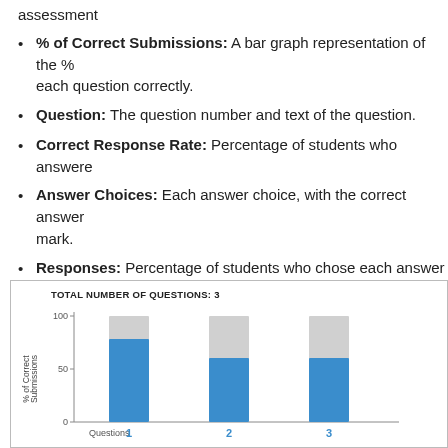assessment
% of Correct Submissions: A bar graph representation of the % of students who answered each question correctly.
Question: The question number and text of the question.
Correct Response Rate: Percentage of students who answered
Answer Choices: Each answer choice, with the correct answer indicated with a check mark.
Responses: Percentage of students who chose each answer option (the number of students who chose the answer is indicated in parentheses).
Type: The question type.
Standards Assessed: The standards tagged to the question (if
[Figure (bar-chart): TOTAL NUMBER OF QUESTIONS: 3]